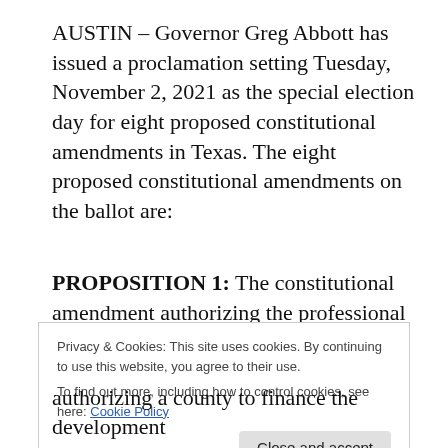AUSTIN – Governor Greg Abbott has issued a proclamation setting Tuesday, November 2, 2021 as the special election day for eight proposed constitutional amendments in Texas. The eight proposed constitutional amendments on the ballot are:
PROPOSITION 1: The constitutional amendment authorizing the professional sports team charitable foundations of organizations sanctioned by the Professional Rodeo Cowboys
Privacy & Cookies: This site uses cookies. By continuing to use this website, you agree to their use.
To find out more, including how to control cookies, see here: Cookie Policy
authorizing a county to finance the development